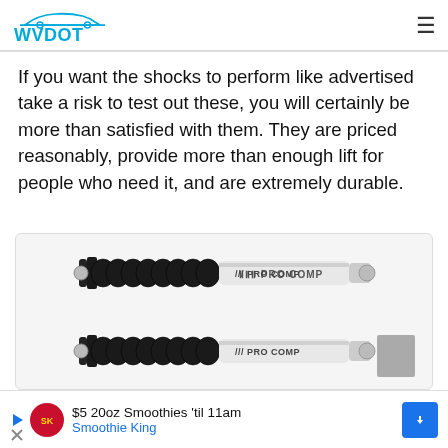WVDOT
If you want the shocks to perform like advertised take a risk to test out these, you will certainly be more than satisfied with them. They are priced reasonably, provide more than enough lift for people who need it, and are extremely durable.
[Figure (photo): Two Pro Comp shock absorbers side by side, showing black accordion boot on left end and silver body with PRO COMP logo text on right, with mounting hardware at both ends.]
$5 20oz Smoothies 'til 11am Smoothie King